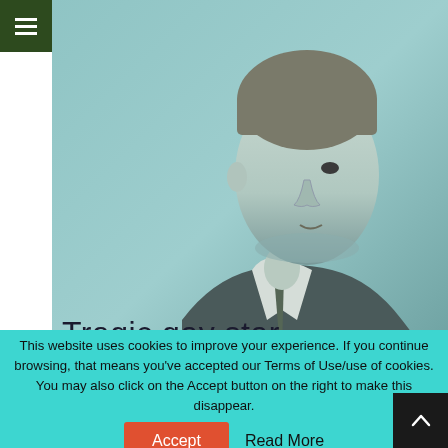[Figure (photo): Black and white photo of a man in a suit with teal/teal tint overlay, with text overlay reading 'Tragic gay star']
[Figure (infographic): Social media share icons: Facebook (f) and Twitter (bird icon) on a light beige background]
This website uses cookies to improve your experience. If you continue browsing, that means you've accepted our Terms of Use/use of cookies. You may also click on the Accept button on the right to make this disappear.